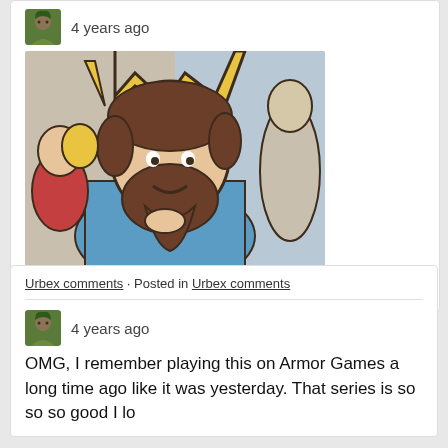4 years ago
[Figure (illustration): Cartoon/comic illustration of a character wearing a golden crown, with brown curly hair and beard, dressed in blue, holding something small. Background shows other figures and objects in a flat cartoon style with colors including gold, brown, blue, red, and beige.]
Reply
Urbex comments · Posted in Urbex comments
4 years ago
OMG, I remember playing this on Armor Games a long time ago like it was yesterday. That series is so so so good I lo